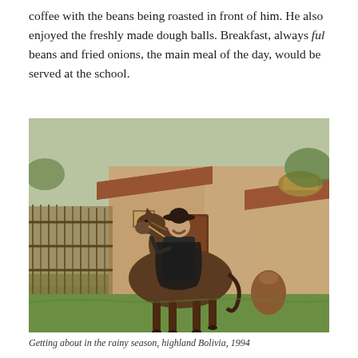coffee with the beans being roasted in front of him. He also enjoyed the freshly made dough balls. Breakfast, always ful beans and fried onions, the main meal of the day, would be served at the school.
[Figure (photo): A person in a wide-brimmed hat and dark rain cloak sitting on a brown horse in front of a rustic adobe building with terracotta tile roof. There is a bamboo/reed fence on the left and clay pots on the right. The scene is set in highland Bolivia in 1994.]
Getting about in the rainy season, highland Bolivia, 1994